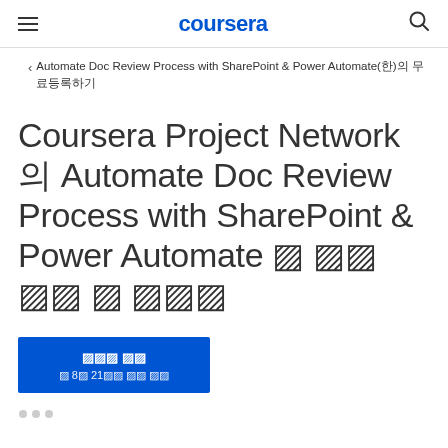coursera
Automate Doc Review Process with SharePoint & Power Automate(한)의 무료등록하기
Coursera Project Network의 Automate Doc Review Process with SharePoint & Power Automate 무 료 로 배 워 보 세 요
무료로 등록
약 8분 21초에 완료 가능
[Figure (other): Navigation dots at bottom of page]